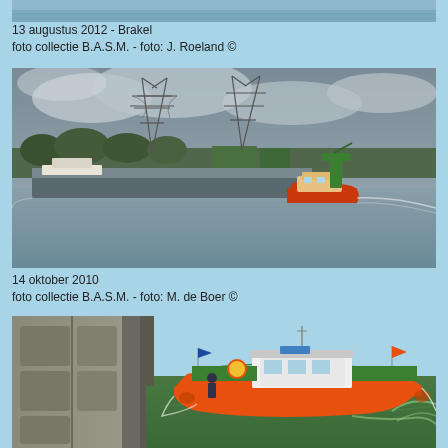[Figure (photo): Partial top strip of a boat photo, cut off at top of page]
13 augustus 2012 - Brakel
foto collectie B.A.S.M. - foto: J. Roeland ©
[Figure (photo): River scene on overcast day: a tug boat with orange hull and green crane/equipment pushes a large flat barge on grey water; electricity transmission pylons and trees visible in background]
14 oktober 2010
foto collectie B.A.S.M. - foto: M. de Boer ©
[Figure (photo): Aerial/elevated view of an orange and green patrol/rescue boat with white wheelhouse moving through green water near a lock gate with concrete walls]